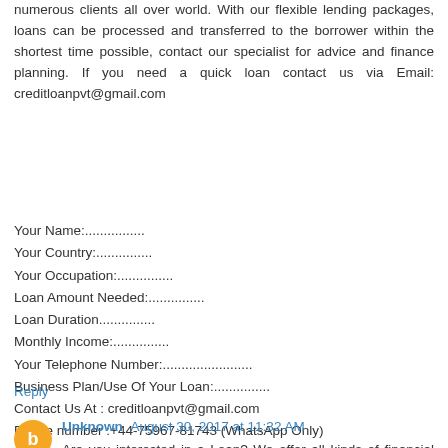numerous clients all over world. With our flexible lending packages, loans can be processed and transferred to the borrower within the shortest time possible, contact our specialist for advice and finance planning. If you need a quick loan contact us via Email: creditloanpvt@gmail.com
Your Name:................
Your Country:...............
Your Occupation:...............
Loan Amount Needed:...............
Loan Duration...............
Monthly Income:...............
Your Telephone Number:........................
Business Plan/Use Of Your Loan:...............
Contact Us At : creditloanpvt@gmail.com
Phone number :+44-75967-81743 (WhatsApp Only)
Reply
Unknown August 30, 2017 at 11:32 AM
Are you interested in a Loan? We offer all kinds of financial assistance to all individuals "Business Personal Loan ,